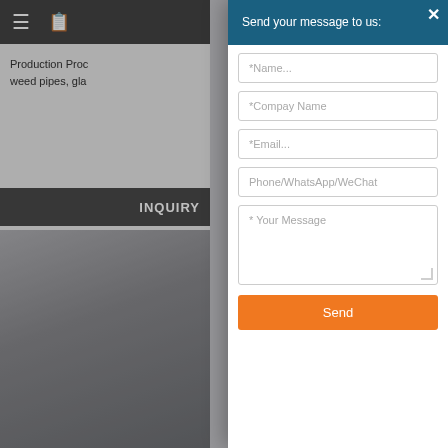≡ [icon]
Production Proc weed pipes, gla
INQUIRY
[Figure (screenshot): Gray background area below INQUIRY bar]
Send your message to us:
*Name...
*Compay Name
*Email...
Phone/WhatsApp/WeChat
* Your Message
Send